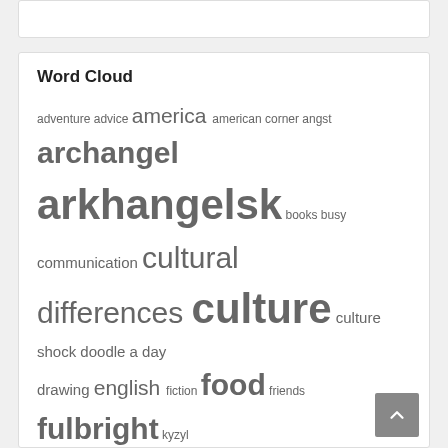Word Cloud
[Figure (other): Word cloud containing tags: adventure, advice, america, american corner, angst, archangel, arkhangelsk, books, busy, communication, cultural differences, culture, culture shock, doodle a day, drawing, english, fiction, food, friends, fulbright, kyzyl, language, life, living abroad, love, men, moscow, nanowrimo, northern dvina, octinsest, october in search of a story, river, russia, russian, shopping, siberia, teaching, time, train, travel, tuva, warm up, winter, writing, writing prompt]